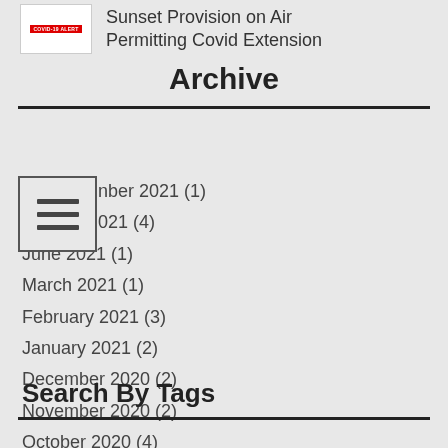Sunset Provision on Air Permitting Covid Extension
Archive
November 2021 (1)
October 2021 (4)
June 2021 (1)
March 2021 (1)
February 2021 (3)
January 2021 (2)
December 2020 (2)
November 2020 (2)
October 2020 (4)
September 2020 (1)
August 2020 (2)
July 2020 (3)
Search By Tags